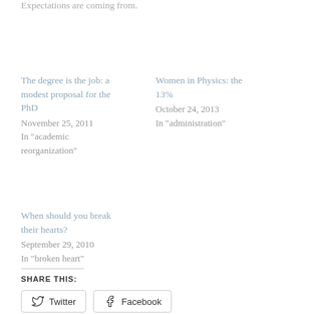Expectations are coming from.
The degree is the job: a modest proposal for the PhD
November 25, 2011
In "academic reorganization"
Women in Physics: the 13%
October 24, 2013
In "administration"
When should you break their hearts?
September 29, 2010
In "broken heart"
Share this:
Twitter   Facebook